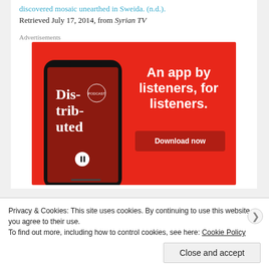discovered mosaic unearthed in Sweida. (n.d.). Retrieved July 17, 2014, from Syrian TV
Advertisements
[Figure (infographic): Red advertisement banner for a podcast app showing a smartphone with 'Dis-trib-uted' podcast text and the tagline 'An app by listeners, for listeners.' with a Download now button.]
Privacy & Cookies: This site uses cookies. By continuing to use this website, you agree to their use. To find out more, including how to control cookies, see here: Cookie Policy
Close and accept